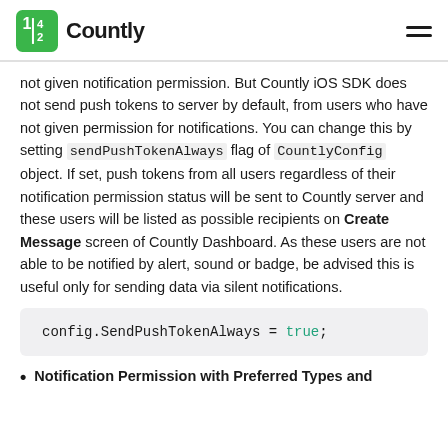Countly
not given notification permission. But Countly iOS SDK does not send push tokens to server by default, from users who have not given permission for notifications. You can change this by setting sendPushTokenAlways flag of CountlyConfig object. If set, push tokens from all users regardless of their notification permission status will be sent to Countly server and these users will be listed as possible recipients on Create Message screen of Countly Dashboard. As these users are not able to be notified by alert, sound or badge, be advised this is useful only for sending data via silent notifications.
config.SendPushTokenAlways = true;
Notification Permission with Preferred Types and